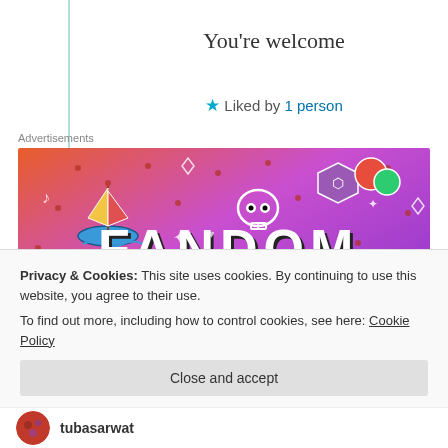You're welcome
★ Liked by 1 person
Advertisements
[Figure (illustration): Fandom on Tumblr advertisement banner with colorful gradient background (orange to purple) and white doodle icons including a sailboat, skull, dice, and text saying FANDOM ON tumblr]
Privacy & Cookies: This site uses cookies. By continuing to use this website, you agree to their use.
To find out more, including how to control cookies, see here: Cookie Policy
Close and accept
tubasarwat